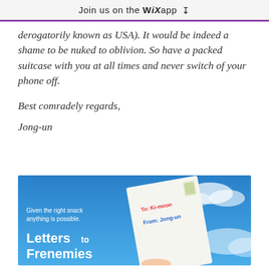Join us on the WiX app ↓
derogatorily known as USA). It would be indeed a shame to be nuked to oblivion. So have a packed suitcase with you at all times and never switch of your phone off.
Best comradely regards,
Jong-un
[Figure (illustration): Book cover image for 'Letters to Frenemies' showing a hand holding an envelope against a blue sky. The envelope is addressed 'To: Ki-moon From: Jong-un' in colorful handwritten text. Text on the left reads 'Given the right snack anything is possible.' in white, with 'Letters to Frenemies' as large white bold text at the bottom left.]